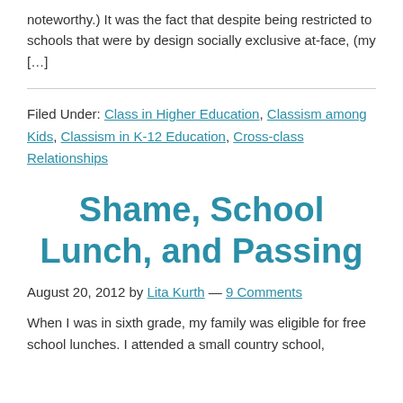noteworthy.) It was the fact that despite being restricted to schools that were by design socially exclusive at-face, (my […]
Filed Under: Class in Higher Education, Classism among Kids, Classism in K-12 Education, Cross-class Relationships
Shame, School Lunch, and Passing
August 20, 2012 by Lita Kurth — 9 Comments
When I was in sixth grade, my family was eligible for free school lunches. I attended a small country school,